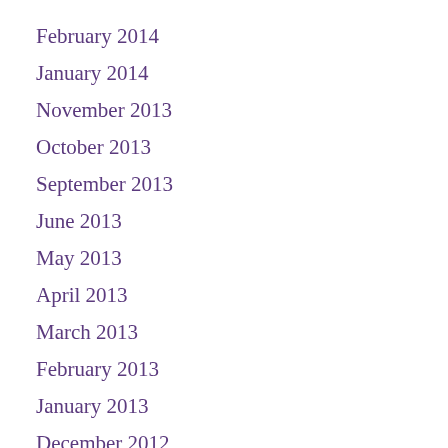February 2014
January 2014
November 2013
October 2013
September 2013
June 2013
May 2013
April 2013
March 2013
February 2013
January 2013
December 2012
October 2012
September 2012
August 2012
July 2012